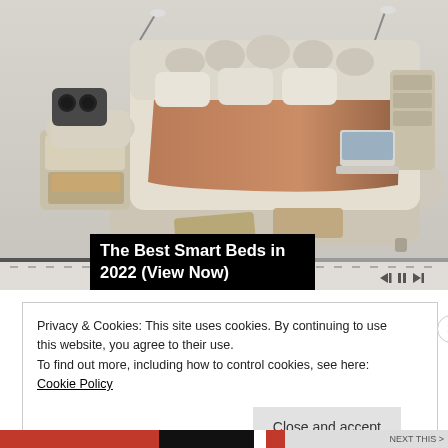[Figure (photo): A luxurious multifunctional smart bed with built-in speakers, reading lamps, storage drawers, massage chair attachment, and a laptop workspace, shown in an advertisement/video player interface with playback controls at the bottom.]
The Best Smart Beds in 2022 (View Now)
Privacy & Cookies: This site uses cookies. By continuing to use this website, you agree to their use.
To find out more, including how to control cookies, see here:
Cookie Policy
Close and accept